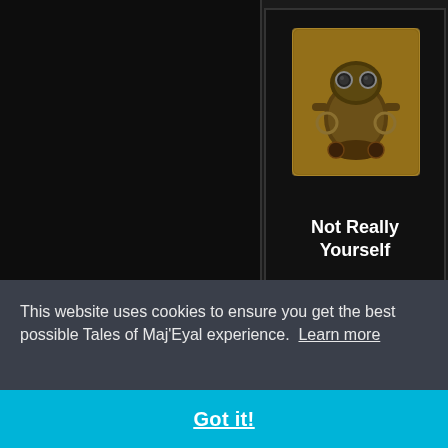[Figure (screenshot): Game achievement icon 1 - steampunk/mechanical character on brown background tile]
Not Really Yourself
[Figure (screenshot): Game achievement icon 2 - colorful creature/character on circular illustrated badge]
Total Annihilation (partially visible)
This website uses cookies to ensure you get the best possible Tales of Maj'Eyal experience.  Learn more
Got it!